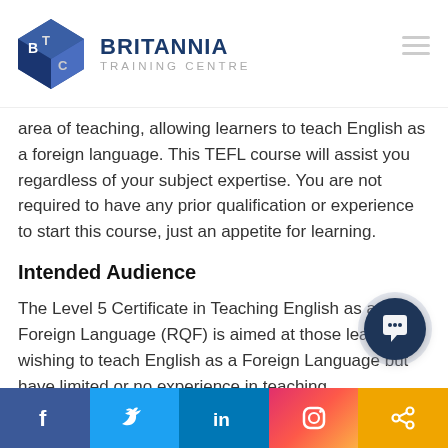[Figure (logo): Britannia Training Centre logo with cube icon and brand name]
area of teaching, allowing learners to teach English as a foreign language. This TEFL course will assist you regardless of your subject expertise. You are not required to have any prior qualification or experience to start this course, just an appetite for learning.
Intended Audience
The Level 5 Certificate in Teaching English as a Foreign Language (RQF) is aimed at those leaners wishing to teach English as a Foreign Language but have limited or no experience in teaching.
[Figure (other): Social media footer bar with Facebook, Twitter, LinkedIn, Instagram, and Share icons]